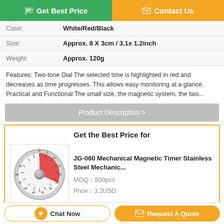Get Best Price
Contact Us
| Field | Value |
| --- | --- |
| Color: | White/Red/Black |
| Size: | Approx. 8 X 3cm / 3.1x 1.2inch |
| Weight: | Approx. 120g |
Features: Two-tone Dial The selected time is highlighted in red and decreases as time progresses. This allows easy monitoring at a glance. Practical and Functional The small size, the magnetic system, the two...
Product Description >
Get the Best Price for
[Figure (photo): Mechanical timer with white/silver body and red dial indicator]
JG-060 Mechanical Magnetic Timer Stainless Steel Mechanic...
MOQ：500pcs
Price：3.2USD
Chat Now
Request A Quote